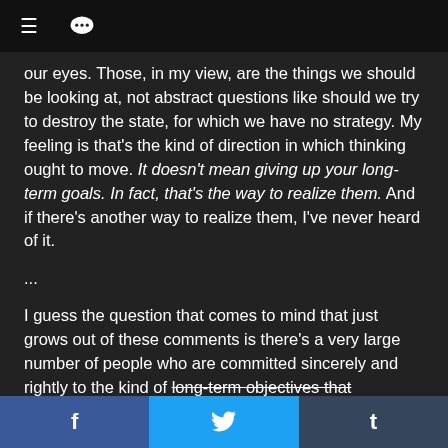≡  💬
our eyes. Those, in my view, are the things we should be looking at, not abstract questions like should we try to destroy the state, for which we have no strategy. My feeling is that's the kind of direction in which thinking ought to move. It doesn't mean giving up your long-term goals. In fact, that's the way to realize them. And if there's another way to realize them, I've never heard of it.
...
I guess the question that comes to mind that just grows out of these comments is there's a very large number of people who are committed sincerely and rightly to the kind of long-term objectives that anarchists have always tried to uphold. Why can't we get together and use these as a guide for doing things exactly
Welcome to Anarcho-Punk.net community! Please register or login to participate in the forums. □/□
f  🐦  t